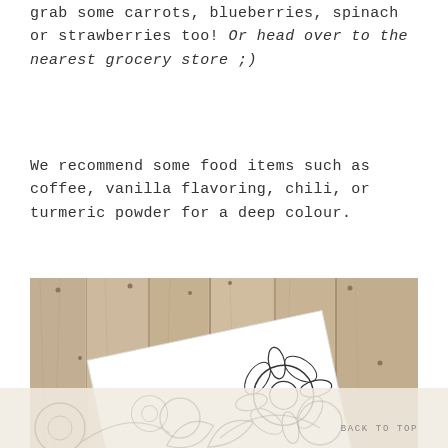grab some carrots, blueberries, spinach or strawberries too! Or head over to the nearest grocery store ;)
We recommend some food items such as coffee, vanilla flavoring, chili, or turmeric powder for a deep colour.
[Figure (photo): Photo of a wooden plank background with a coloring page featuring floral designs placed at an angle on top]
BACK TO TOP